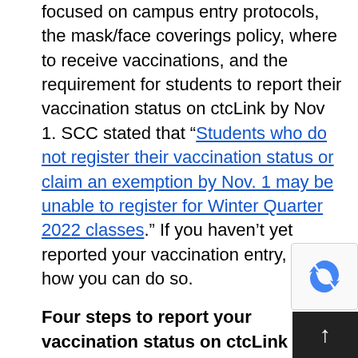focused on campus entry protocols, the mask/face coverings policy, where to receive vaccinations, and the requirement for students to report their vaccination status on ctcLink by Nov 1. SCC stated that “Students who do not register their vaccination status or claim an exemption by Nov. 1 may be unable to register for Winter Quarter 2022 classes.” If you haven’t yet reported your vaccination entry, here’s how you can do so.
Four steps to report your vaccination status on ctcLink
Note: Try out different browsers if ctcLink doesn’t work on your usual browser or cl…